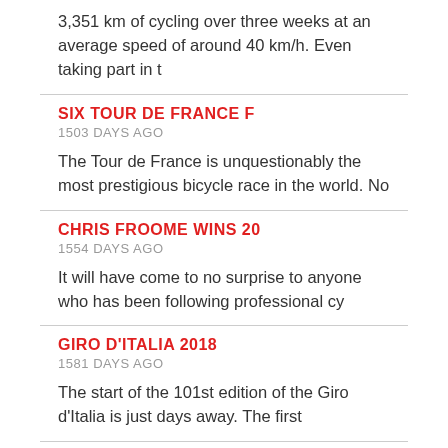3,351 km of cycling over three weeks at an average speed of around 40 km/h. Even taking part in t
SIX TOUR DE FRANCE F
1503 DAYS AGO
The Tour de France is unquestionably the most prestigious bicycle race in the world. No
CHRIS FROOME WINS 20
1554 DAYS AGO
It will have come to no surprise to anyone who has been following professional cy
GIRO D'ITALIA 2018
1581 DAYS AGO
The start of the 101st edition of the Giro d'Italia is just days away. The first
MITCHELTON-SCOTT TH